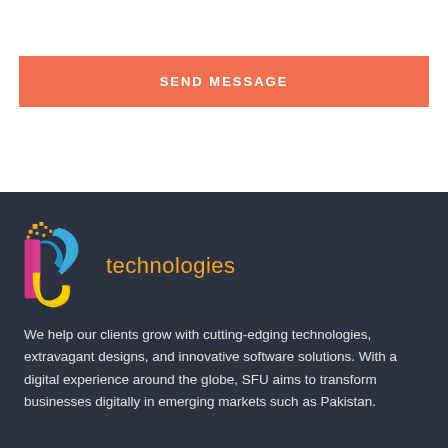[Figure (other): Orange/salmon colored button with white uppercase text 'SEND MESSAGE']
[Figure (logo): IFS Technologies logo — colorful stylized letters with blue, magenta/pink, yellow shapes and blue 'r' letterform, with 'technologies' text in orange]
We help our clients grow with cutting-edging technologies, extravagant designs, and innovative software solutions. With a digital experience around the globe, SFU aims to transform businesses digitally in emerging markets such as Pakistan.